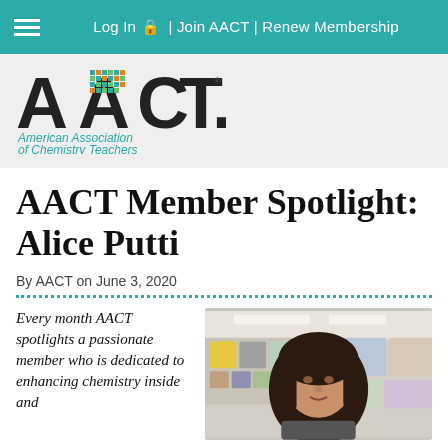Log In | Join AACT | Renew Membership
[Figure (logo): AACT logo — American Association of Chemistry Teachers wordmark with colorful dot-grid pattern in the letter A]
AACT Member Spotlight: Alice Putti
By AACT on June 3, 2020
Every month AACT spotlights a passionate member who is dedicated to enhancing chemistry inside and
[Figure (photo): Photo of Alice Putti in a classroom setting with posters and photos on the wall behind her]